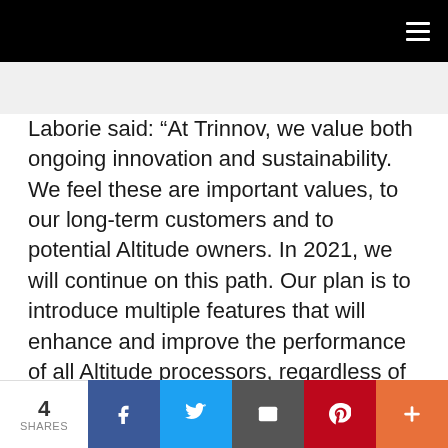≡
Laborie said: “At Trinnov, we value both ongoing innovation and sustainability. We feel these are important values, to our long-term customers and to potential Altitude owners. In 2021, we will continue on this path. Our plan is to introduce multiple features that will enhance and improve the performance of all Altitude processors, regardless of when they were purchased.”
When first released in 2014, Trinnov filled a gap
4 SHARES  f  Twitter  Email  Pinterest  +